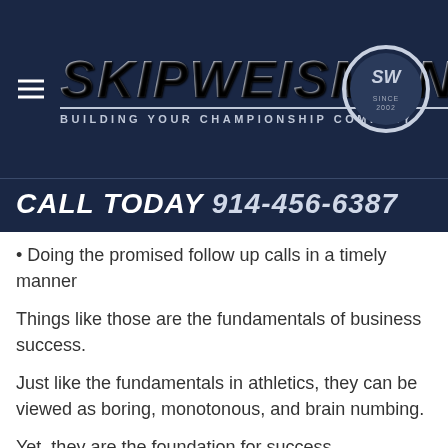[Figure (logo): Skip Weisman logo — dark navy header with metallic styled text 'Skip Weisman', tagline 'BUILDING YOUR CHAMPIONSHIP COMPANY', championship ring graphic, and hamburger menu icon]
CALL TODAY 914-456-6387
• Doing the promised follow up calls in a timely manner
Things like those are the fundamentals of business success.
Just like the fundamentals in athletics, they can be viewed as boring, monotonous, and brain numbing.
Yet, they are the foundation for success.